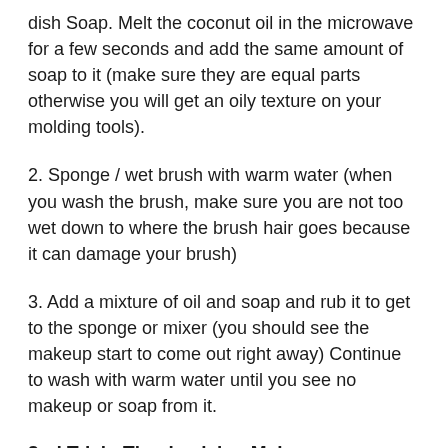dish Soap. Melt the coconut oil in the microwave for a few seconds and add the same amount of soap to it (make sure they are equal parts otherwise you will get an oily texture on your molding tools).
2. Sponge / wet brush with warm water (when you wash the brush, make sure you are not too wet down to where the brush hair goes because it can damage your brush)
3. Add a mixture of oil and soap and rub it to get to the sponge or mixer (you should see the makeup start to come out right away) Continue to wash with warm water until you see no makeup or soap from it.
2nd Trick- Thanksgiving Makeup